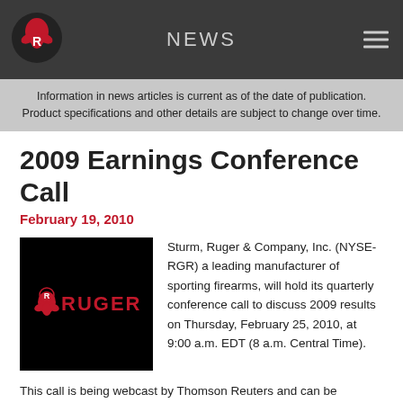NEWS
Information in news articles is current as of the date of publication. Product specifications and other details are subject to change over time.
2009 Earnings Conference Call
February 19, 2010
[Figure (logo): Ruger logo — white phoenix/bird symbol with RUGER text on black background]
Sturm, Ruger & Company, Inc. (NYSE-RGR) a leading manufacturer of sporting firearms, will hold its quarterly conference call to discuss 2009 results on Thursday, February 25, 2010, at 9:00 a.m. EDT (8 a.m. Central Time).
This call is being webcast by Thomson Reuters and can be